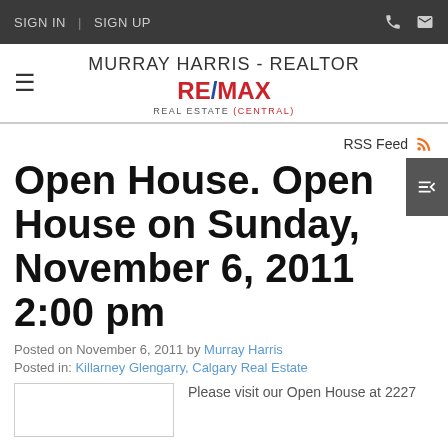SIGN IN | SIGN UP
MURRAY HARRIS - REALTOR RE/MAX REAL ESTATE (CENTRAL)
RSS Feed
Open House. Open House on Sunday, November 6, 2011 2:00 pm
Posted on November 6, 2011 by Murray Harris
Posted in: Killarney Glengarry, Calgary Real Estate
Please visit our Open House at 2227